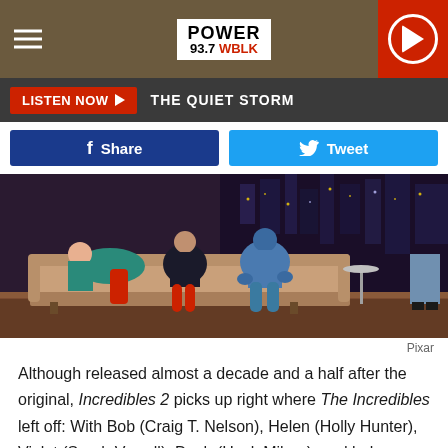POWER 93.7 WBLK
LISTEN NOW ▶  THE QUIET STORM
f Share   Tweet
[Figure (photo): Scene from Incredibles 2 animated film showing characters sitting on a couch in a modern interior setting]
Pixar
Although released almost a decade and a half after the original, Incredibles 2 picks up right where The Incredibles left off: With Bob (Craig T. Nelson), Helen (Holly Hunter), Violet (Sarah Vowell), Dash (Huck Milner), and baby